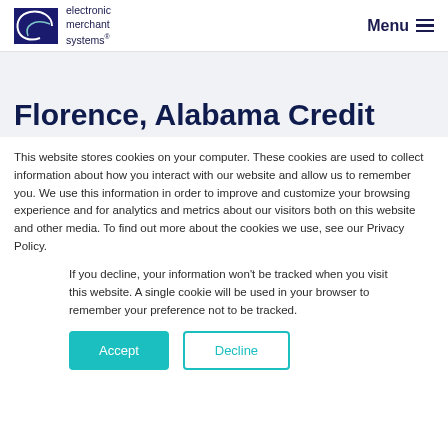electronic merchant systems — Menu
Florence, Alabama Credit
This website stores cookies on your computer. These cookies are used to collect information about how you interact with our website and allow us to remember you. We use this information in order to improve and customize your browsing experience and for analytics and metrics about our visitors both on this website and other media. To find out more about the cookies we use, see our Privacy Policy.
If you decline, your information won't be tracked when you visit this website. A single cookie will be used in your browser to remember your preference not to be tracked.
Accept   Decline